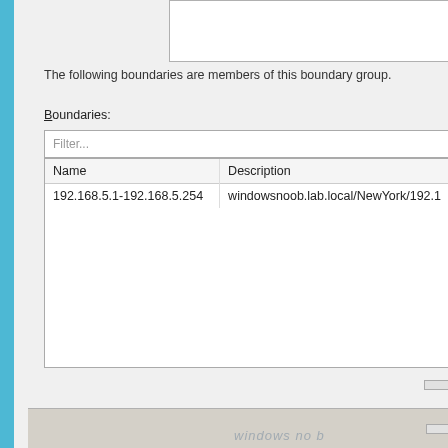The following boundaries are members of this boundary group.
Boundaries:
| Name | Description |
| --- | --- |
| 192.168.5.1-192.168.5.254 | windowsnoob.lab.local/NewYork/192.1 |